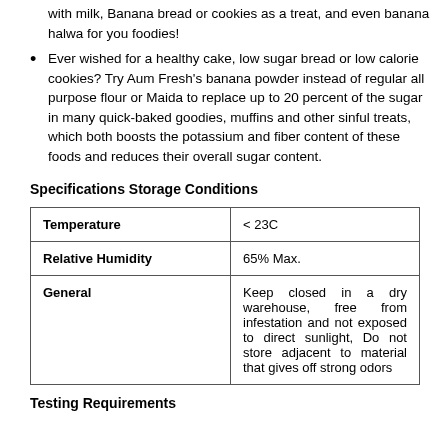with milk, Banana bread or cookies as a treat, and even banana halwa for you foodies!
Ever wished for a healthy cake, low sugar bread or low calorie cookies? Try Aum Fresh's banana powder instead of regular all purpose flour or Maida to replace up to 20 percent of the sugar in many quick-baked goodies, muffins and other sinful treats, which both boosts the potassium and fiber content of these foods and reduces their overall sugar content.
Specifications Storage Conditions
| Temperature | < 23C |
| Relative Humidity | 65% Max. |
| General | Keep closed in a dry warehouse, free from infestation and not exposed to direct sunlight, Do not store adjacent to material that gives off strong odors |
Testing Requirements